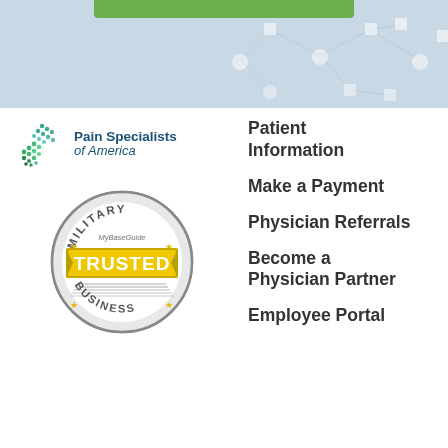[Figure (illustration): Top banner background with light blue network/molecular dot pattern and a green bar at top center]
[Figure (logo): Pain Specialists of America logo: green and teal triangular dot-pattern icon with text 'Pain Specialists of America' in navy blue]
[Figure (illustration): MyBaseGuide Military Trusted Business circular badge/seal in gray, yellow, and white with 'TRUSTED' in yellow banner]
Patient Information
Make a Payment
Physician Referrals
Become a Physician Partner
Employee Portal